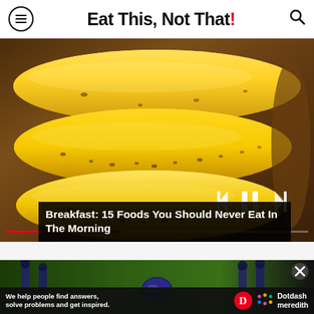Eat This, Not That!
[Figure (photo): Close-up photo of yellow bananas with brown spots on a wooden surface, with media player controls (previous, pause, next) and a progress bar overlaid at the bottom]
Breakfast: 15 Foods You Should Never Eat In The Morning
[Figure (photo): Football players on a green field, used as background for an advertisement]
We help people find answers, solve problems and get inspired.
Dotdash meredith